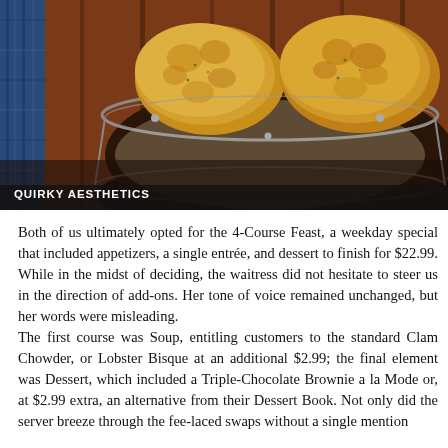[Figure (photo): Close-up photo of fried dough balls or biscuits in a dark round wire/metal basket on a wooden surface, with a blue patterned cloth visible on the left. Label 'Quirky Aesthetics' in white small-caps text overlaid at the bottom left.]
Both of us ultimately opted for the 4-Course Feast, a weekday special that included appetizers, a single entrée, and dessert to finish for $22.99. While in the midst of deciding, the waitress did not hesitate to steer us in the direction of add-ons. Her tone of voice remained unchanged, but her words were misleading.
The first course was Soup, entitling customers to the standard Clam Chowder, or Lobster Bisque at an additional $2.99; the final element was Dessert, which included a Triple-Chocolate Brownie a la Mode or, at $2.99 extra, an alternative from their Dessert Book. Not only did the server breeze through the fee-laced swaps without a single mention